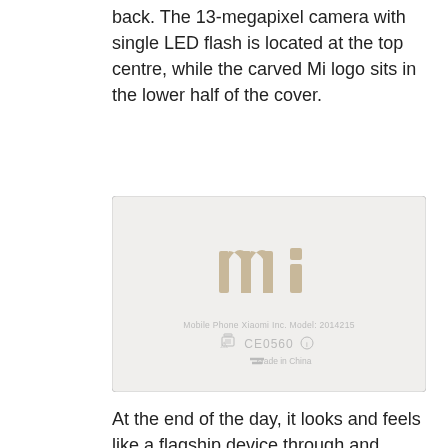back. The 13-megapixel camera with single LED flash is located at the top centre, while the carved Mi logo sits in the lower half of the cover.
[Figure (photo): Photo of the back cover of a Xiaomi smartphone showing the carved Mi logo in the center, regulatory text 'Mobile Phone  Xiaomi Inc.  Model: 2014215', CE0560 certification mark, WEEE symbol, i-symbol, and 'Made in China' text. The back cover is white/light gray.]
At the end of the day, it looks and feels like a flagship device through and through.